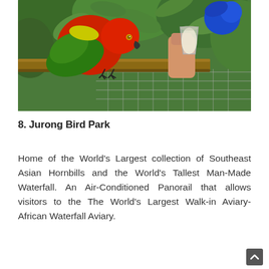[Figure (photo): A vibrant red and green parrot (lorikeet) perched on a wooden rail being fed from a clear plastic cup by a person's hand, with another blue-headed bird visible in the background and green tropical foliage.]
8. Jurong Bird Park
Home of the World's Largest collection of Southeast Asian Hornbills and the World's Tallest Man-Made Waterfall. An Air-Conditioned Panorail that allows visitors to the The World's Largest Walk-in Aviary-African Waterfall Aviary.